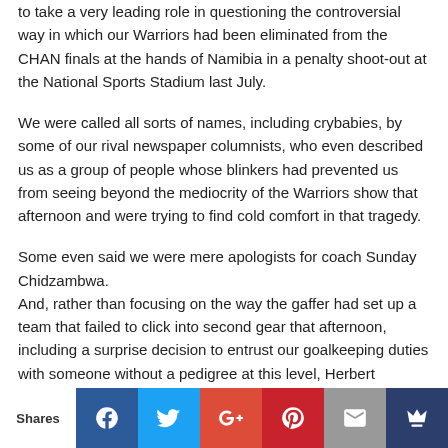to take a very leading role in questioning the controversial way in which our Warriors had been eliminated from the CHAN finals at the hands of Namibia in a penalty shoot-out at the National Sports Stadium last July.
We were called all sorts of names, including crybabies, by some of our rival newspaper columnists, who even described us as a group of people whose blinkers had prevented us from seeing beyond the mediocrity of the Warriors show that afternoon and were trying to find cold comfort in that tragedy.
Some even said we were mere apologists for coach Sunday Chidzambwa.
And, rather than focusing on the way the gaffer had set up a team that failed to click into second gear that afternoon, including a surprise decision to entrust our goalkeeping duties with someone without a pedigree at this level, Herbert Rusawo, they accused us of spending our energy on a technicality they claimed didn't exist and didn't matter at all.
Shares | Facebook | Twitter | Google+ | Pinterest | Mail | Crown